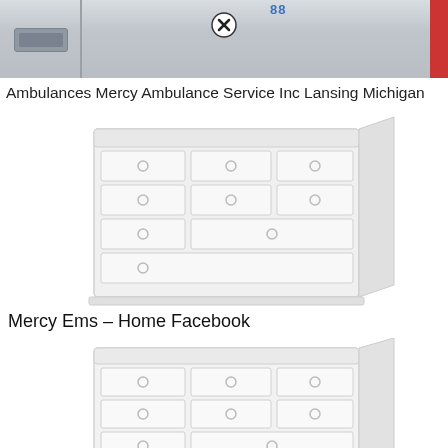[Figure (photo): Side view of an ambulance vehicle, light gray body with a rectangular light on the left, a red stripe on the right edge, and a close/remove button overlay in the center top area.]
Ambulances Mercy Ambulance Service Inc Lansing Michigan
[Figure (illustration): Illustration of a white dresser/chest of drawers with multiple drawers and round knobs, shown in a light perspective view. Image appears faded/light.]
Mercy Ems – Home Facebook
[Figure (illustration): Second illustration of a white dresser/chest of drawers similar to the first one, shown in a light perspective view with a close/remove button overlay at the bottom center.]